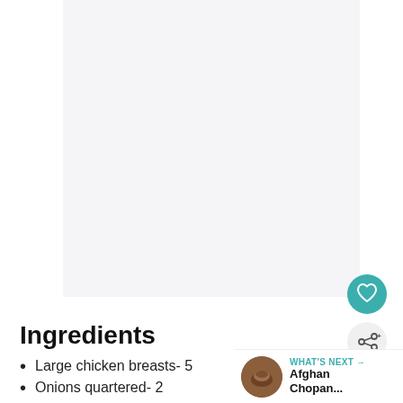[Figure (photo): Large white/light gray blank image area representing a food photo placeholder]
[Figure (other): Teal circular heart/favorite button icon]
[Figure (other): White circular share button icon with share symbol]
Ingredients
Large chicken breasts- 5
Onions quartered- 2
[Figure (other): What's Next panel showing Afghan Chopan thumbnail and label]